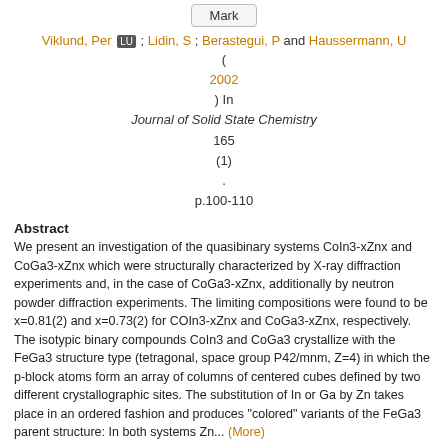Mark
Viklund, Per LU ; Lidin, S ; Berastegui, P and Haussermann, U
( 2002 ) In Journal of Solid State Chemistry 165 (1) . p.100-110
Abstract
We present an investigation of the quasibinary systems CoIn3-xZnx and CoGa3-xZnx which were structurally characterized by X-ray diffraction experiments and, in the case of CoGa3-xZnx, additionally by neutron powder diffraction experiments. The limiting compositions were found to be x=0.81(2) and x=0.73(2) for COIn3-xZnx and CoGa3-xZnx, respectively. The isotypic binary compounds CoIn3 and CoGa3 crystallize with the FeGa3 structure type (tetragonal, space group P42/mnm, Z=4) in which the p-block atoms form an array of columns of centered cubes defined by two different crystallographic sites. The substitution of In or Ga by Zn takes place in an ordered fashion and produces "colored" variants of the FeGa3 parent structure: In both systems Zn... (More)
Links